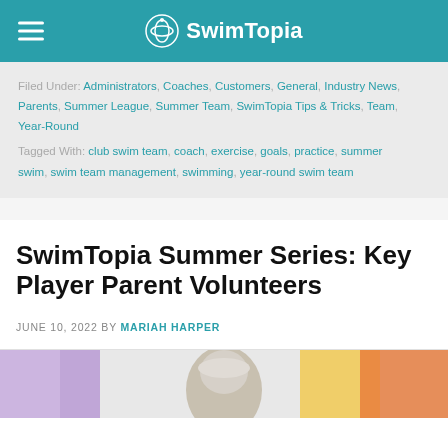SwimTopia
Filed Under: Administrators, Coaches, Customers, General, Industry News, Parents, Summer League, Summer Team, SwimTopia Tips & Tricks, Team, Year-Round
Tagged With: club swim team, coach, exercise, goals, practice, summer swim, swim team management, swimming, year-round swim team
SwimTopia Summer Series: Key Player Parent Volunteers
JUNE 10, 2022 BY MARIAH HARPER
[Figure (photo): Partial photo of a person with grey/white hair, colorful blurred background with purple and orange tones]